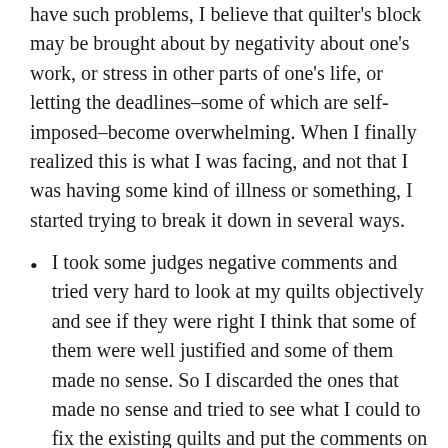have such problems, I believe that quilter's block may be brought about by negativity about one's work, or stress in other parts of one's life, or letting the deadlines–some of which are self-imposed–become overwhelming.  When I finally realized this is what I was facing, and not that I was having some kind of illness or something, I started trying to break it down in several ways.
I took some judges negative comments and tried very hard to look at my quilts objectively and see if they were right  I think that some of them were well justified and some of them made no sense.  So I discarded the ones that made no sense and tried to see what I could to fix the existing quilts and put the comments on my list to watch for for future quilts.  Then I took their positive comments as